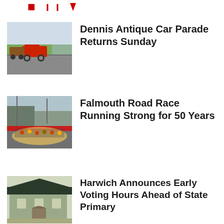[Figure (logo): Partial news website logo with red text and downward arrow]
[Figure (photo): Antique cars in a parade on a road with spectators]
Dennis Antique Car Parade Returns Sunday
[Figure (photo): Runners at start of Falmouth Road Race with crowd and finish banners]
Falmouth Road Race Running Strong for 50 Years
[Figure (photo): Historic building exterior, small brick or stone town hall style structure]
Harwich Announces Early Voting Hours Ahead of State Primary